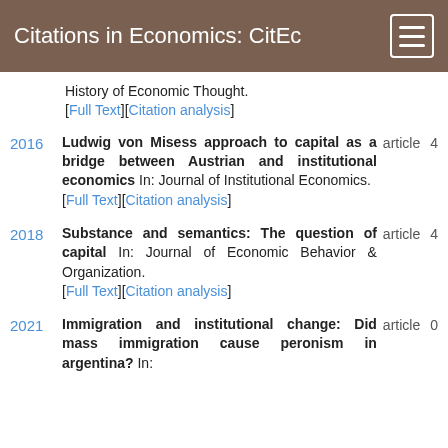Citations in Economics: CitEc
History of Economic Thought. [Full Text][Citation analysis]
2016 — Ludwig von Misess approach to capital as a bridge between Austrian and institutional economics In: Journal of Institutional Economics. [Full Text][Citation analysis] article 4
2018 — Substance and semantics: The question of capital In: Journal of Economic Behavior & Organization. [Full Text][Citation analysis] article 4
2021 — Immigration and institutional change: Did mass immigration cause peronism in argentina? In: article 0